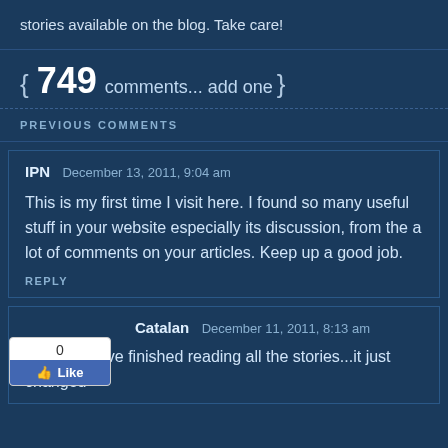stories available on the blog. Take care!
{ 749 comments... add one }
PREVIOUS COMMENTS
IPN  December 13, 2011, 9:04 am
This is my first time I visit here. I found so many useful stuff in your website especially its discussion, from the a lot of comments on your articles. Keep up a good job.
REPLY
Catalan  December 11, 2011, 8:13 am
Just as I have finished reading all the stories...it just changed